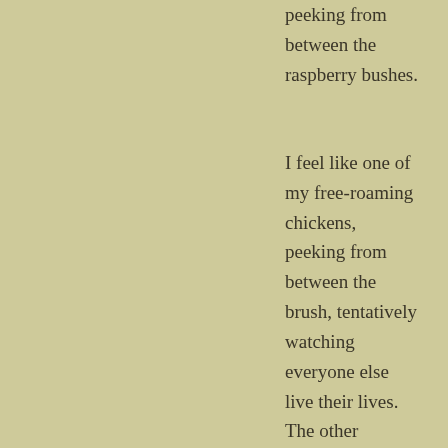peeking from between the raspberry bushes.
I feel like one of my free-roaming chickens, peeking from between the brush, tentatively watching everyone else live their lives. The other chickens go about their day, picking bugs out of the grown, running down grasshoppers, yanking mosquitoes out of the air. All the while, I stay in the cool shade and contemplate what to spend my energy on.
This year, 2019, was supposed to be the year of expansion for the homestead. The idea was to add ducks, grow a couple turkeys, and possibly start building a pig pen. A